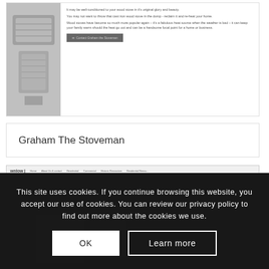[Figure (screenshot): Partial screenshot of Graham The Stoveman website showing a stove image and text about wood stoves, with a 'Contact Graham The Stoveman' button]
Graham The Stoveman
[Figure (screenshot): Partial screenshot of a website for a Providence, RI restoration/property management company called Downlow, showing navigation bar and content about an eighteenth century building]
This site uses cookies. If you continue browsing this website, you accept our use of cookies. You can review our privacy policy to find out more about the cookies we use.
OK
Learn more